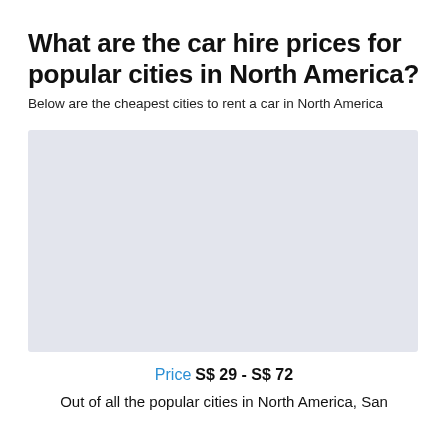What are the car hire prices for popular cities in North America?
Below are the cheapest cities to rent a car in North America
[Figure (other): Light gray rectangular placeholder for a chart or map showing car hire prices for popular cities in North America]
Price  S$ 29 - S$ 72
Out of all the popular cities in North America, San